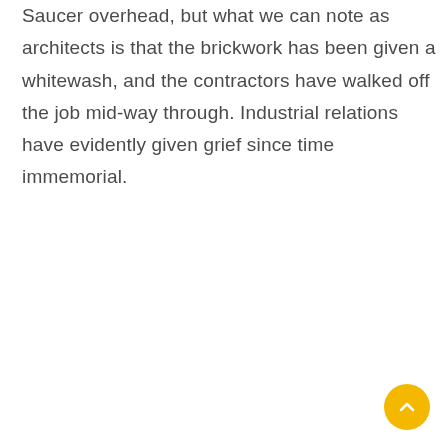Saucer overhead, but what we can note as architects is that the brickwork has been given a whitewash, and the contractors have walked off the job mid-way through. Industrial relations have evidently given grief since time immemorial.
[Figure (other): A circular amber/yellow floating action button with an upward-pointing chevron arrow, positioned in the bottom-right corner of the page.]